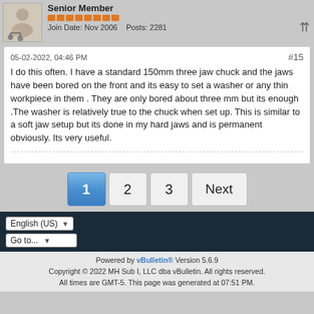Senior Member
Join Date: Nov 2006  Posts: 2281
05-02-2022, 04:46 PM
#15
I do this often. I have a standard 150mm three jaw chuck and the jaws have been bored on the front and its easy to set a washer or any thin workpiece in them . They are only bored about three mm but its enough .The washer is relatively true to the chuck when set up. This is similar to a soft jaw setup but its done in my hard jaws and is permanent obviously. Its very useful.
1  2  3  Next
English (US)
Go to...
Powered by vBulletin® Version 5.6.9
Copyright © 2022 MH Sub I, LLC dba vBulletin. All rights reserved.
All times are GMT-5. This page was generated at 07:51 PM.